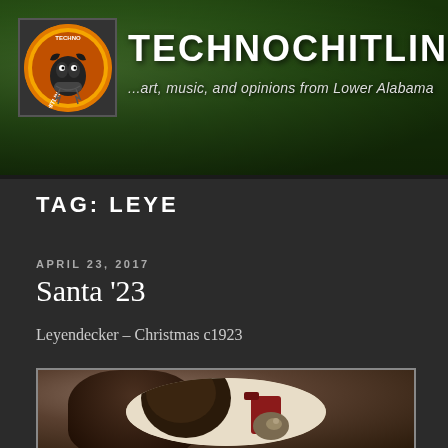[Figure (illustration): Technochitlins website header banner with green tree canopy background. Logo on left: circular orange badge with cartoon cat/animal character and 'TECHNOCHITLINS' text around rim. Site title 'TECHNOCHITLINS' in large bold white text. Tagline '...art, music, and opinions from Lower Alabama' in italic white text below.]
TAG: LEYE
APRIL 23, 2017
Santa '23
Leyendecker – Christmas c1923
[Figure (photo): Partial view of a Leyendecker Christmas illustration circa 1923 showing a dark-coated Santa Claus figure with a small dog, set within an oval vignette frame against a light background.]